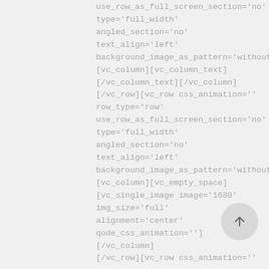css_animation='' row_type='row' use_row_as_full_screen_section='no' type='full_width' angled_section='no' text_align='left' background_image_as_pattern='without_pattern'] [vc_column][vc_column_text] [/vc_column_text][/vc_column] [/vc_row][vc_row css_animation='' row_type='row' use_row_as_full_screen_section='no' type='full_width' angled_section='no' text_align='left' background_image_as_pattern='without_pattern'] [vc_column][vc_empty_space] [vc_single_image image='1680' img_size='full' alignment='center' qode_css_animation=''][/vc_column] [/vc_row][vc_row css_animation=''
[Figure (other): Circular scroll-to-top button with upward arrow icon]